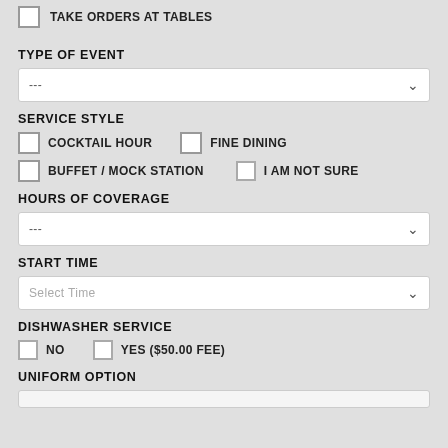TAKE ORDERS AT TABLES
TYPE OF EVENT
---
SERVICE STYLE
COCKTAIL HOUR
FINE DINING
BUFFET / MOCK STATION
I AM NOT SURE
HOURS OF COVERAGE
---
START TIME
Select Time
DISHWASHER SERVICE
NO
YES ($50.00 FEE)
UNIFORM OPTION